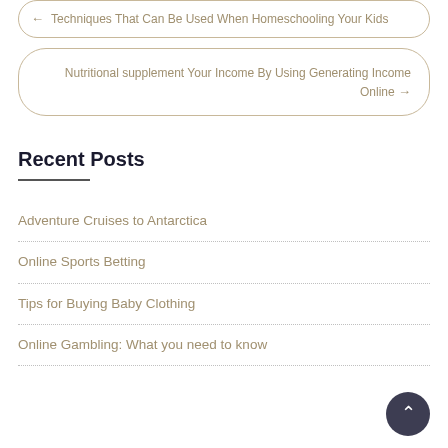← Techniques That Can Be Used When Homeschooling Your Kids
Nutritional supplement Your Income By Using Generating Income Online →
Recent Posts
Adventure Cruises to Antarctica
Online Sports Betting
Tips for Buying Baby Clothing
Online Gambling: What you need to know